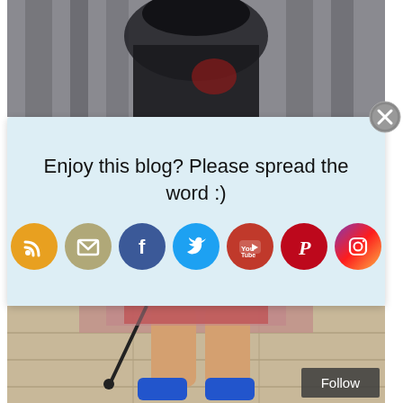[Figure (photo): Top portion of a photo showing a woman in a black jacket against an urban building background]
Enjoy this blog? Please spread the word :)
[Figure (infographic): Row of social media icon buttons: RSS (orange), Email (tan/khaki), Facebook (blue), Twitter (blue), YouTube (red), Pinterest (red), Instagram (purple-orange gradient)]
[Figure (photo): Bottom portion of a photo showing a woman's legs in a red skirt and blue high heels on stone pavement]
Follow